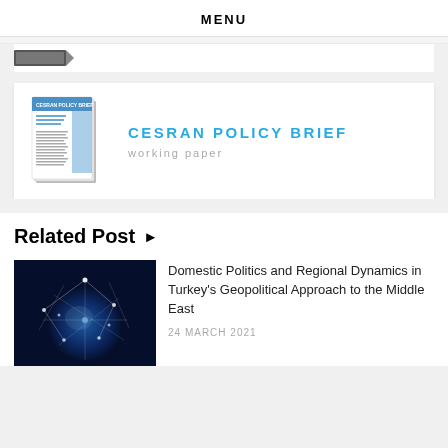MENU
[Figure (illustration): Partial view of a document or book cover at top of page]
[Figure (illustration): CESRAN Policy Brief working paper book cover image]
CESRAN POLICY BRIEF
working paper
Related Post ▶
[Figure (photo): Globe with network connections, blue glowing earth with white lines]
Domestic Politics and Regional Dynamics in Turkey's Geopolitical Approach to the Middle East
24 MARCH 2021